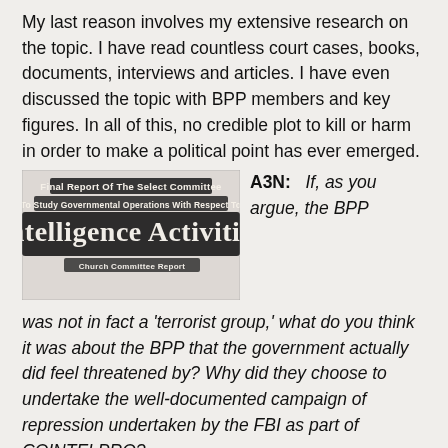My last reason involves my extensive research on the topic. I have read countless court cases, books, documents, interviews and articles. I have even discussed the topic with BPP members and key figures. In all of this, no credible plot to kill or harm in order to make a political point has ever emerged.
[Figure (photo): Cover image of the Church Committee Report titled 'Final Report Of The Select Committee To Study Governmental Operations With Respect To Intelligence Activities - Church Committee Report']
A3N:  If, as you argue, the BPP was not in fact a 'terrorist group,' what do you think it was about the BPP that the government actually did feel threatened by? Why did they choose to undertake the well-documented campaign of repression undertaken by the FBI as part of COINTELPRO?
AB:    I once read a book written by a man who inspires others to live life without boundaries or limitations. In this book entitled, Solitary Refinement, Christopher Coleman makes a profound inquiry. He